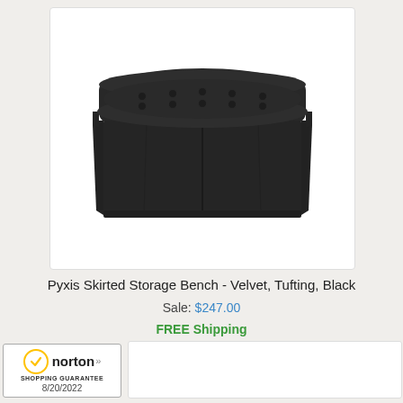[Figure (photo): Black tufted velvet skirted storage bench (Pyxis Skirted Storage Bench) photographed on white background. The bench has a rectangular tufted top cushion and a full-length skirted base in black velvet fabric.]
Pyxis Skirted Storage Bench - Velvet, Tufting, Black
Sale: $247.00
FREE Shipping
[Figure (logo): Norton Shopping Guarantee badge with yellow checkmark circle, 'norton' text with double chevron arrows, 'SHOPPING GUARANTEE' subtext, and date '8/20/2022']